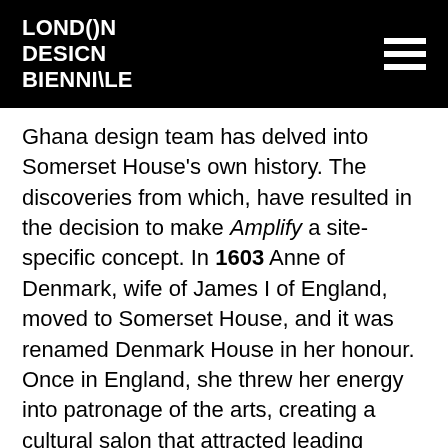LONDON DESIGN BIENNALE
Ghana design team has delved into Somerset House's own history. The discoveries from which, have resulted in the decision to make Amplify a site-specific concept. In 1603 Anne of Denmark, wife of James I of England, moved to Somerset House, and it was renamed Denmark House in her honour. Once in England, she threw her energy into patronage of the arts, creating a cultural salon that attracted leading painters, writers and thinkers. In 1609, she invited Inigo Jones and other architects, to redesign and rebuild parts of the palace. The work continued until her death in 1619. She was said to be an assertive, independent and dynamic patron of the arts, keen to attract...